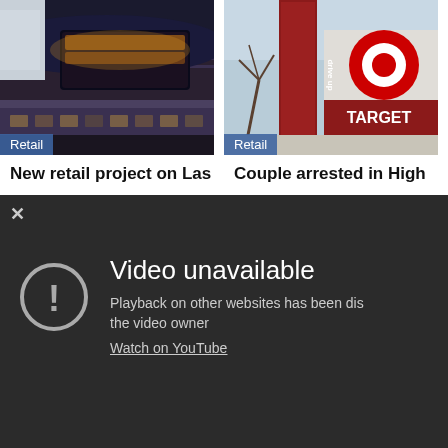[Figure (photo): News article card showing a building with neon lights, labeled Retail, with headline 'New retail project on Las']
[Figure (photo): News article card showing a Target store drive-up sign, labeled Retail, with headline 'Couple arrested in High']
[Figure (screenshot): YouTube embedded video player showing 'Video unavailable' error message with text 'Playback on other websites has been disabled by the video owner' and 'Watch on YouTube' link. Close (x) button in top left.]